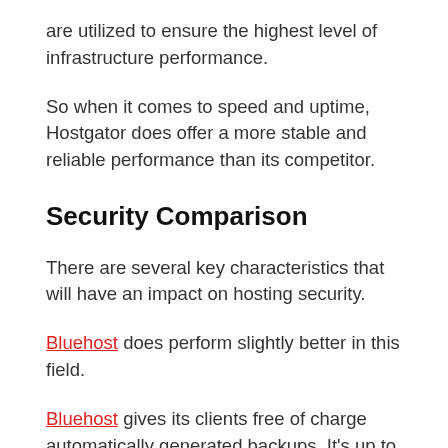are utilized to ensure the highest level of infrastructure performance.
So when it comes to speed and uptime, Hostgator does offer a more stable and reliable performance than its competitor.
Security Comparison
There are several key characteristics that will have an impact on hosting security.
Bluehost does perform slightly better in this field.
Bluehost gives its clients free of charge automatically generated backups. It's up to the individual client to do some scheduling and decide whether backups will occur daily, weekly or monthly.